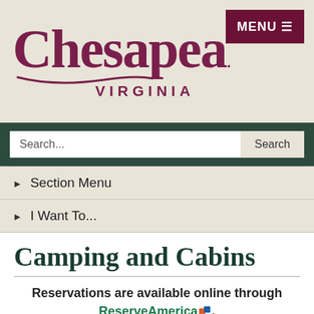[Figure (logo): Chesapeake Virginia logo in maroon/dark red serif font with decorative wave underline]
MENU
Search...
▸ Section Menu
▸ I Want To...
Camping and Cabins
Reservations are available online through ReserveAmerica. If you have questions or need further information, please call Northwest River Park at